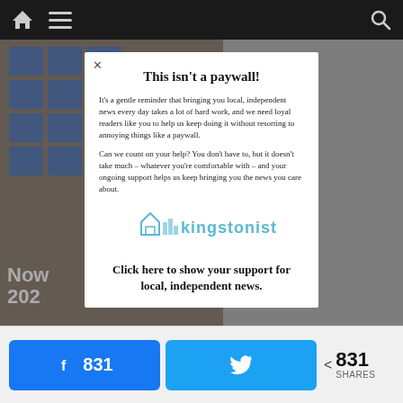[Figure (screenshot): Dark navigation bar with home icon, hamburger menu icon, and search icon on a dark background]
[Figure (photo): Background photo showing a venue/event space with blue cards/signs, partially visible text 'Now 202' in white, dimmed behind modal overlay]
This isn’t a paywall!
It’s a gentle reminder that bringing you local, independent news every day takes a lot of hard work, and we need loyal readers like you to help us keep doing it without resorting to annoying things like a paywall.
Can we count on your help? You don’t have to, but it doesn’t take much – whatever you’re comfortable with – and your ongoing support helps us keep bringing you the news you care about.
[Figure (logo): Kingstonist logo in light blue with house/building icon and bar chart]
Click here to show your support for local, independent news.
[Figure (screenshot): Share bar at bottom with Facebook share button showing 831, Twitter share button, and share count 831 SHARES]